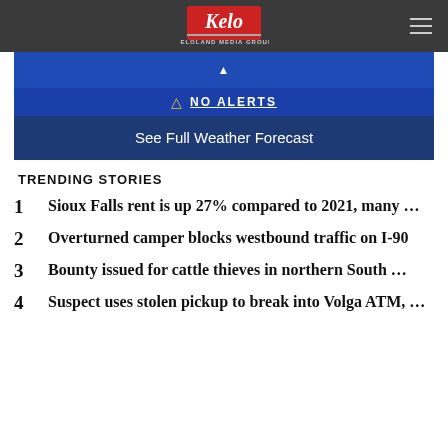KELOLAND Media Group
[Figure (screenshot): Weather banner showing NO ALERTS in blue]
See Full Weather Forecast
TRENDING STORIES
1  Sioux Falls rent is up 27% compared to 2021, many ...
2  Overturned camper blocks westbound traffic on I-90
3  Bounty issued for cattle thieves in northern South ...
4  Suspect uses stolen pickup to break into Volga ATM, ...